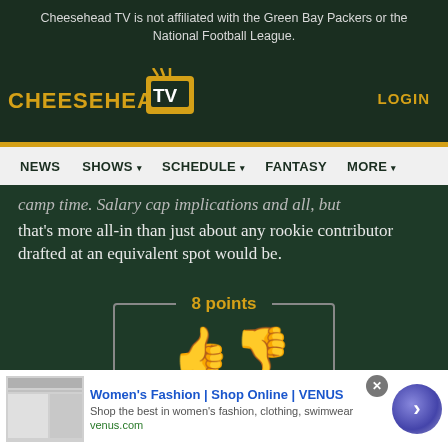Cheesehead TV is not affiliated with the Green Bay Packers or the National Football League.
[Figure (logo): Cheesehead TV logo with gold text and TV icon]
LOGIN
NEWS  SHOWS  SCHEDULE  FANTASY  MORE
camp time. Salary cap implications and all, but that's more all-in than just about any rookie contributor drafted at an equivalent spot would be.
8 points
[Figure (infographic): Thumbs up and thumbs down icons in gold/yellow color for rating widget]
Women's Fashion | Shop Online | VENUS
Shop the best in women's fashion, clothing, swimwear
venus.com